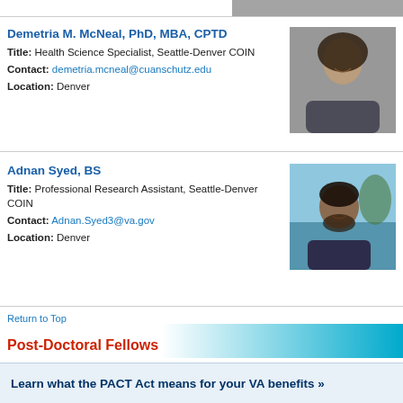[Figure (photo): Partial photo visible at top right of page]
Demetria M. McNeal, PhD, MBA, CPTD
Title: Health Science Specialist, Seattle-Denver COIN
Contact: demetria.mcneal@cuanschutz.edu
Location: Denver
[Figure (photo): Professional headshot of Demetria M. McNeal, a woman with long dark curly hair, smiling, wearing a dark blazer]
Adnan Syed, BS
Title: Professional Research Assistant, Seattle-Denver COIN
Contact: Adnan.Syed3@va.gov
Location: Denver
[Figure (photo): Photo of Adnan Syed, a young man with dark beard, smiling, outdoor background with water and trees]
Return to Top
Post-Doctoral Fellows
Learn what the PACT Act means for your VA benefits »